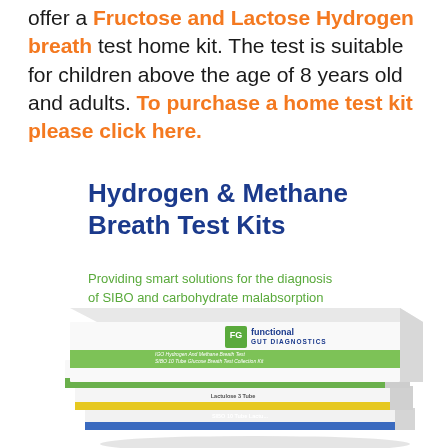offer a Fructose and Lactose Hydrogen breath test home kit. The test is suitable for children above the age of 8 years old and adults. To purchase a home test kit please click here.
Hydrogen & Methane Breath Test Kits
Providing smart solutions for the diagnosis of SIBO and carbohydrate malabsorption
[Figure (photo): Stack of white product boxes branded with 'functional GUT DIAGNOSTICS' logo, showing SIBO Hydrogen and Methane Breath Test Collection Kits including Glucose, Lactulose, and Lactose variants]